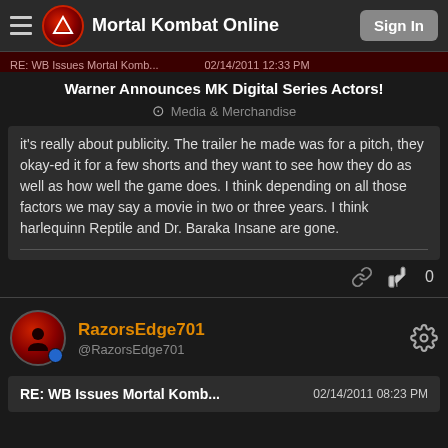Mortal Kombat Online | Sign In
RE: WB Issues Mortal Komb...  02/14/2011 12:33 PM
Warner Announces MK Digital Series Actors!
Media & Merchandise
it's really about publicity. The trailer he made was for a pitch, they okay-ed it for a few shorts and they want to see how they do as well as how well the game does. I think depending on all those factors we may say a movie in two or three years. I think harlequinn Reptile and Dr. Baraka Insane are gone.
0
RazorsEdge701
@RazorsEdge701
RE: WB Issues Mortal Komb...  02/14/2011 08:23 PM